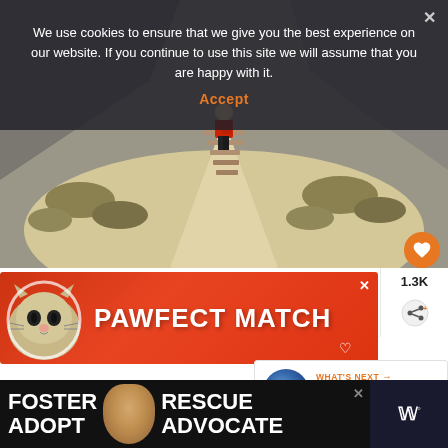We use cookies to ensure that we give you the best experience on our website. If you continue to use this site we will assume that you are happy with it.
Accept
[Figure (photo): Person in red jacket walking up wooden stairs on a sandy desert trail with dry shrubs and rocky formations]
[Figure (other): PAWFECT MATCH advertisement banner with cat image on orange-red background]
[Figure (other): What's Next panel with thumbnail and text: Unmissable South Dakot...]
[Figure (other): FOSTER ADOPT RESCUE ADVOCATE advertisement banner with dog image on black background]